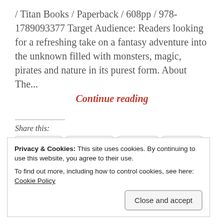/ Titan Books / Paperback / 608pp / 978-1789093377 Target Audience: Readers looking for a refreshing take on a fantasy adventure into the unknown filled with monsters, magic, pirates and nature in its purest form. About The...
Continue reading
Share this:
Twitter  Facebook  Email  Tumblr
Privacy & Cookies: This site uses cookies. By continuing to use this website, you agree to their use.
To find out more, including how to control cookies, see here: Cookie Policy
Close and accept